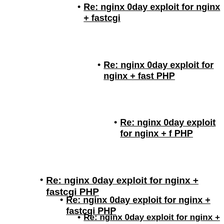Re: nginx 0day exploit for nginx + fastcgi...
Re: nginx 0day exploit for nginx + fast... PHP
Re: nginx 0day exploit for nginx + f... PHP
Re: nginx 0day exploit for nginx + fastcgi PHP
Re: nginx 0day exploit for nginx + fastcgi PHP
Re: nginx 0day exploit for nginx + fastcgi PHP
Re: nginx 0day exploit for nginx + fastcgi PH...